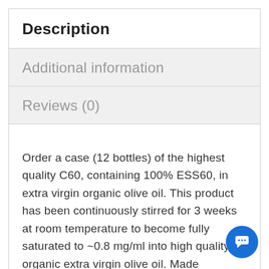Description
Additional information
Reviews (0)
Order a case (12 bottles) of the highest quality C60, containing 100% ESS60, in extra virgin organic olive oil. This product has been continuously stirred for 3 weeks at room temperature to become fully saturated to ~0.8 mg/ml into high quality organic extra virgin olive oil. Made especially for dogs with natural bacon essence. Give to dogs once daily in their food, according to the pet dosage page. Please note, all pet products are only available in a 3 oz bottle with measuring